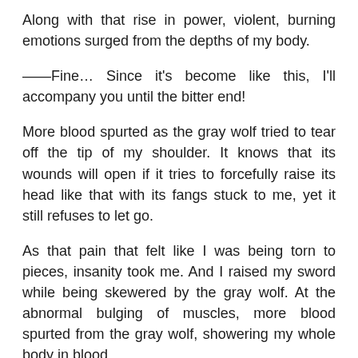Along with that rise in power, violent, burning emotions surged from the depths of my body.
——Fine… Since it's become like this, I'll accompany you until the bitter end!
More blood spurted as the gray wolf tried to tear off the tip of my shoulder. It knows that its wounds will open if it tries to forcefully raise its head like that with its fangs stuck to me, yet it still refuses to let go.
As that pain that felt like I was being torn to pieces, insanity took me. And I raised my sword while being skewered by the gray wolf. At the abnormal bulging of muscles, more blood spurted from the gray wolf, showering my whole body in blood.
“I am aAAaaAA!”